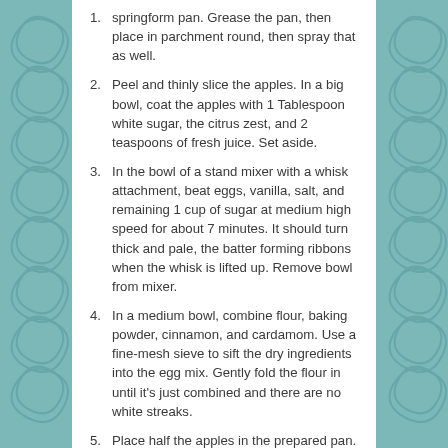1. springform pan. Grease the pan, then place in parchment round, then spray that as well.
2. Peel and thinly slice the apples. In a big bowl, coat the apples with 1 Tablespoon white sugar, the citrus zest, and 2 teaspoons of fresh juice. Set aside.
3. In the bowl of a stand mixer with a whisk attachment, beat eggs, vanilla, salt, and remaining 1 cup of sugar at medium high speed for about 7 minutes. It should turn thick and pale, the batter forming ribbons when the whisk is lifted up. Remove bowl from mixer.
4. In a medium bowl, combine flour, baking powder, cinnamon, and cardamom. Use a fine-mesh sieve to sift the dry ingredients into the egg mix. Gently fold the flour in until it's just combined and there are no white streaks.
5. Place half the apples in the prepared pan. Pour half the batter over them. Use an offset spatula to work the batter into nooks and crannies. Scatter the